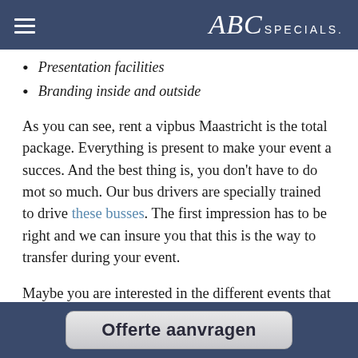ABC SPECIALS
Presentation facilities
Branding inside and outside
As you can see, rent a vipbus Maastricht is the total package. Everything is present to make your event a succes. And the best thing is, you don't have to do mot so much. Our bus drivers are specially trained to drive these busses. The first impression has to be right and we can insure you that this is the way to transfer during your event.
Maybe you are interested in the different events that rent a vipbus Maastricht have raelised. In the summary below you will find some more about
Offerte aanvragen